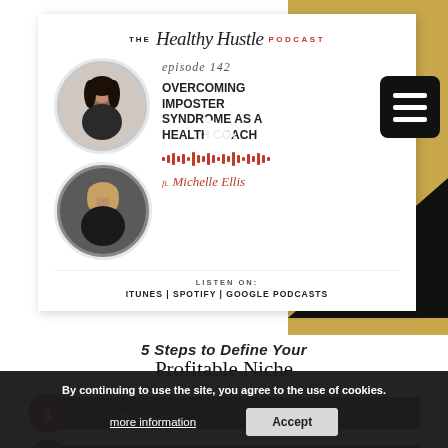[Figure (other): The Healthy Hustle Podcast episode 142 cover art featuring two circular portrait photos of women, episode title 'Overcoming Imposter Syndrome as a Health Coach', featuring Michelle Ellis, with waveform graphic and listen on iTunes | Spotify | Google Podcasts text. Play button overlay visible.]
5 Steps to Define Your Profitable Niche
1 Write down your story
3 Do your research - is this niche sustainable & profitable?
By continuing to use the site, you agree to the use of cookies.
more information
Accept